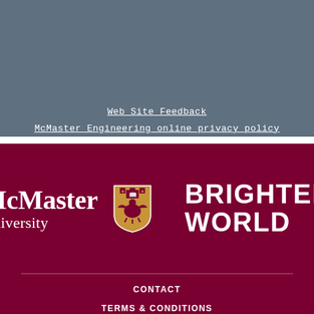Web Site Feedback
McMaster Engineering online privacy policy
[Figure (logo): McMaster University logo with shield crest and 'BRIGHTER WORLD' tagline on maroon background]
CONTACT
TERMS & CONDITIONS
PRIVACY POLICY